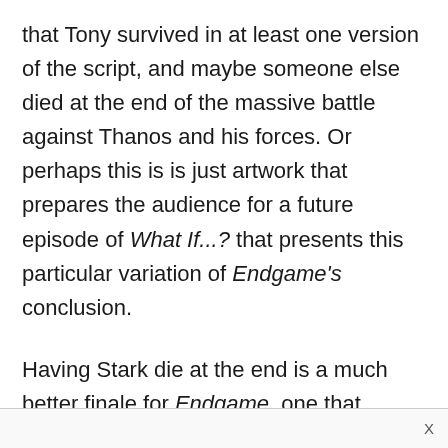that Tony survived in at least one version of the script, and maybe someone else died at the end of the massive battle against Thanos and his forces. Or perhaps this is is just artwork that prepares the audience for a future episode of What If...? that presents this particular variation of Endgame's conclusion.
Having Stark die at the end is a much better finale for Endgame, one that confirms yet again that the stakes were much higher than anything we've ever seen before in a superhero movie.